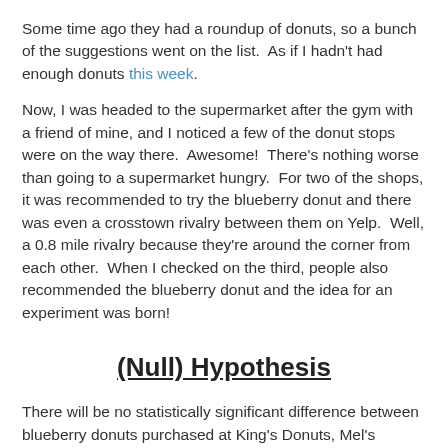Some time ago they had a roundup of donuts, so a bunch of the suggestions went on the list.  As if I hadn't had enough donuts this week.
Now, I was headed to the supermarket after the gym with a friend of mine, and I noticed a few of the donut stops were on the way there.  Awesome!  There's nothing worse than going to a supermarket hungry.  For two of the shops, it was recommended to try the blueberry donut and there was even a crosstown rivalry between them on Yelp.  Well, a 0.8 mile rivalry because they're around the corner from each other.  When I checked on the third, people also recommended the blueberry donut and the idea for an experiment was born!
(Null) Hypothesis
There will be no statistically significant difference between blueberry donuts purchased at King's Donuts, Mel's Donuts, and M & M Donuts.